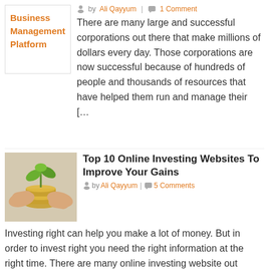[Figure (logo): Orange text box with 'Business Management Platform' label]
by Ali Qayyum | 1 Comment
There are many large and successful corporations out there that make millions of dollars every day. Those corporations are now successful because of hundreds of people and thousands of resources that have helped them run and manage their [&hellip
[Figure (photo): Hands cupping a small plant growing from a pile of coins, representing investment growth]
Top 10 Online Investing Websites To Improve Your Gains
by Ali Qayyum | 5 Comments
Investing right can help you make a lot of money. But in order to invest right you need the right information at the right time. There are many online investing website out there, so here is a list [&hellip